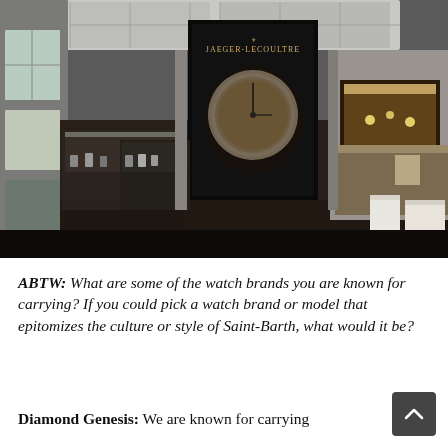[Figure (photo): Interior of a luxury watch and jewelry store. Display cases with watches line the left side. A prominent black cabinet with Jaeger-LeCoultre branding is visible in the center background, featuring a large watch face image. A jewelry display case with illuminated jewelry is on the right wall. A curved service counter with chairs is on the right. The store has hardwood floors and large windows on the left.]
ABTW: What are some of the watch brands you are known for carrying? If you could pick a watch brand or model that epitomizes the culture or style of Saint-Barth, what would it be?
Diamond Genesis: We are known for carrying